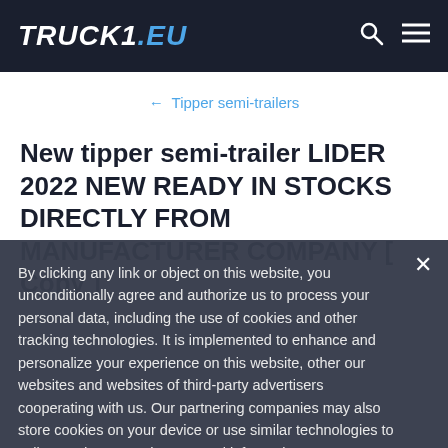TRUCK1.EU
← Tipper semi-trailers
New tipper semi-trailer LIDER 2022 NEW READY IN STOCKS DIRECTLY FROM MANUFACTURER COMPANY [ Copy ]
By clicking any link or object on this website, you unconditionally agree and authorize us to process your personal data, including the use of cookies and other tracking technologies. It is implemented to enhance and personalize your experience on this website, other our websites and websites of third-party advertisers cooperating with us. Our partnering companies may also store cookies on your device or use similar technologies to collect and process the personal information. Learn more about how we treat your private information.